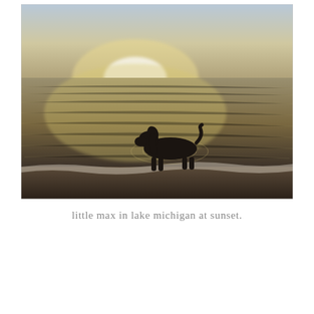[Figure (photo): A silhouette of a small dog (dachshund) wading in Lake Michigan at sunset. The water reflects a bright glowing sun, with ripples around the dog. The foreground shows a sandy shoreline. The image has warm golden and dark tones.]
little max in lake michigan at sunset.